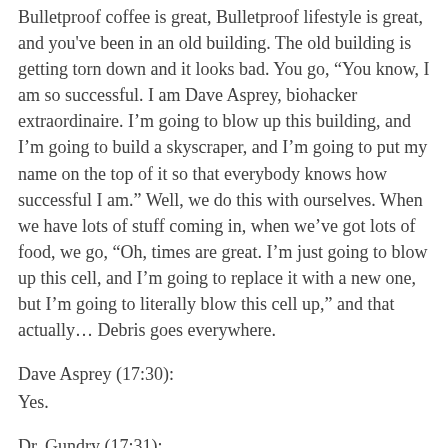Bulletproof coffee is great, Bulletproof lifestyle is great, and you've been in an old building. The old building is getting torn down and it looks bad. You go, “You know, I am so successful. I am Dave Asprey, biohacker extraordinaire. I’m going to blow up this building, and I’m going to build a skyscraper, and I’m going to put my name on the top of it so that everybody knows how successful I am.” Well, we do this with ourselves. When we have lots of stuff coming in, when we’ve got lots of food, we go, “Oh, times are great. I’m just going to blow up this cell, and I’m going to replace it with a new one, but I’m going to literally blow this cell up,” and that actually… Debris goes everywhere.
Dave Asprey (17:30):
Yes.
Dr. Gundry (17:31):